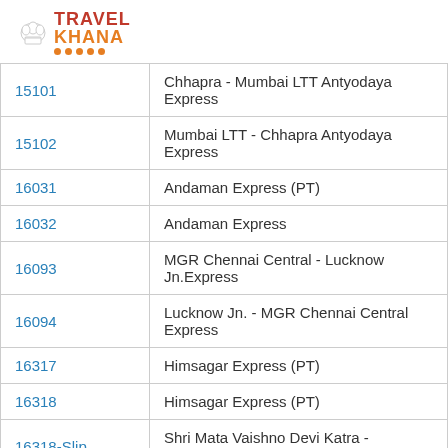[Figure (logo): TravelKhana logo with chef hat icon, red TRAVEL text, orange KHANA text, and orange dots underline]
| Train Number | Train Name |
| --- | --- |
| 15101 | Chhapra - Mumbai LTT Antyodaya Express |
| 15102 | Mumbai LTT - Chhapra Antyodaya Express |
| 16031 | Andaman Express (PT) |
| 16032 | Andaman Express |
| 16093 | MGR Chennai Central - Lucknow Jn.Express |
| 16094 | Lucknow Jn. - MGR Chennai Central Express |
| 16317 | Himsagar Express (PT) |
| 16318 | Himsagar Express (PT) |
| 16318-Slip | Shri Mata Vaishno Devi Katra - Tirunelveli E |
| 16687 | Navyug Express (PT) |